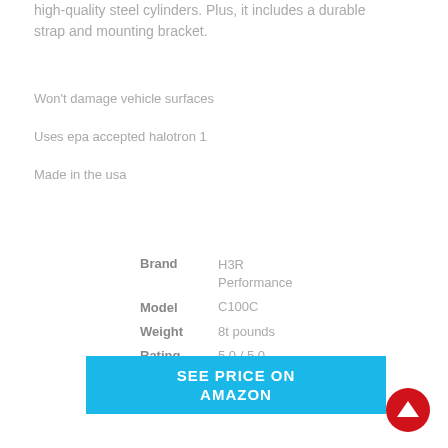high-quality steel cylinders. Plus, it includes a durable strap and mounting bracket.
Won't damage vehicle surfaces
Uses epa accepted halotron 1
Made in the usa
| Field | Value |
| --- | --- |
| Brand | H3R Performance |
| Model | C100C |
| Weight | 8t pounds |
| Rating | 5.0 / 5.0 |
SEE PRICE ON AMAZON